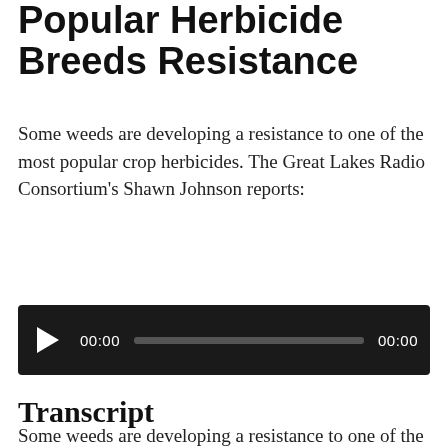Popular Herbicide Breeds Resistance
Some weeds are developing a resistance to one of the most popular crop herbicides. The Great Lakes Radio Consortium's Shawn Johnson reports:
[Figure (other): Audio player with play button, progress bar showing 00:00 elapsed and 00:00 total duration]
Transcript
Some weeds are developing a resistance to one of the most popular crop herbicides. The Great Lakes Radio Consortium's Shawn